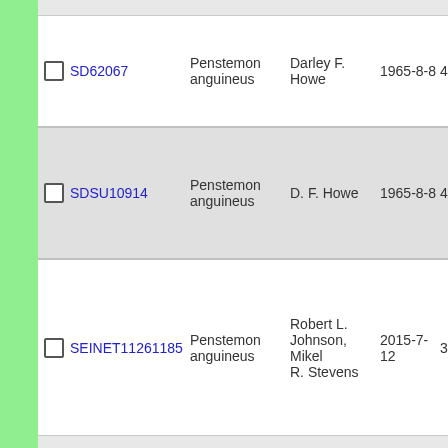| ID | Name | Collector | Date | Num |
| --- | --- | --- | --- | --- |
| SD62067 | Penstemon anguineus | Darley F. Howe | 1965-8-8 | 41 |
| SDSU10914 | Penstemon anguineus | D. F. Howe | 1965-8-8 | 41 |
| SEINET11261185 | Penstemon anguineus | Robert L. Johnson, Mikel R. Stevens | 2015-7-12 | 39 |